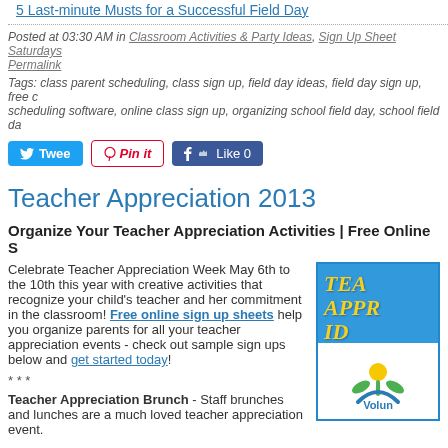5 Last-minute Musts for a Successful Field Day
Posted at 03:30 AM in Classroom Activities & Party Ideas, Sign Up Sheet Saturdays
Permalink
Tags: class parent scheduling, class sign up, field day ideas, field day sign up, free class scheduling software, online class sign up, organizing school field day, school field da...
[Figure (other): Twitter Tweet button, Pinterest Pin It button, Facebook Like 0 button]
Teacher Appreciation 2013
Organize Your Teacher Appreciation Activities | Free Online S...
Celebrate Teacher Appreciation Week May 6th to the 10th this year with creative activities that recognize your child's teacher and her commitment in the classroom! Free online sign up sheets help you organize parents for all your teacher appreciation events - check out sample sign ups below and get started today!
[Figure (illustration): Teacher Appreciation Ideas graphic with blue background and yellow text, with a Volunteer logo below]
* * *
Teacher Appreciation Brunch - Staff brunches and lunches are a much loved teacher appreciation event.